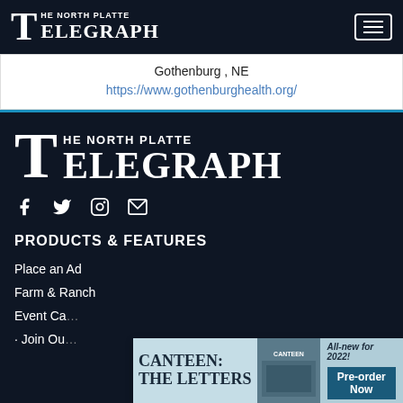The North Platte Telegraph
Gothenburg , NE
https://www.gothenburghealth.org/
[Figure (logo): The North Platte Telegraph large logo in white on dark background]
[Figure (infographic): Social media icons: Facebook, Twitter, Instagram, Email]
PRODUCTS & FEATURES
Place an Ad
Farm & Ranch
Event Ca...
Join Ou...
[Figure (illustration): Advertisement overlay: CANTEEN: THE LETTERS - All-new for 2022! Pre-order Now]